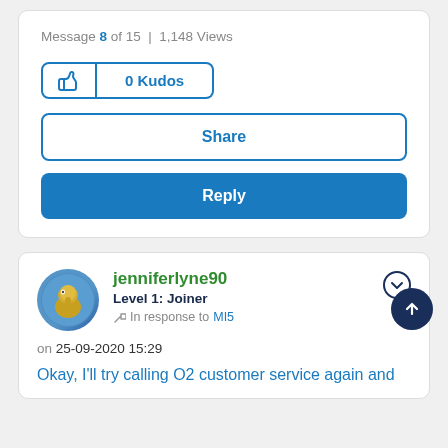Message 8 of 15 | 1,148 Views
[Figure (screenshot): Kudos button with thumbs up icon and '0 Kudos' count]
Share
Reply
jenniferlyne90
Level 1: Joiner
In response to MI5
on 25-09-2020 15:29
Okay, I'll try calling O2 customer service again and